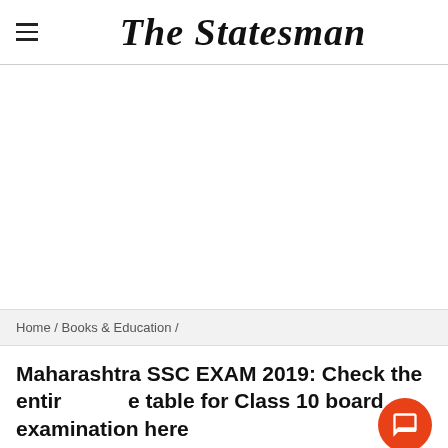The Statesman
[Figure (other): Advertisement / blank white area]
Home / Books & Education /
Maharashtra SSC EXAM 2019: Check the entire time table for Class 10 board examination here